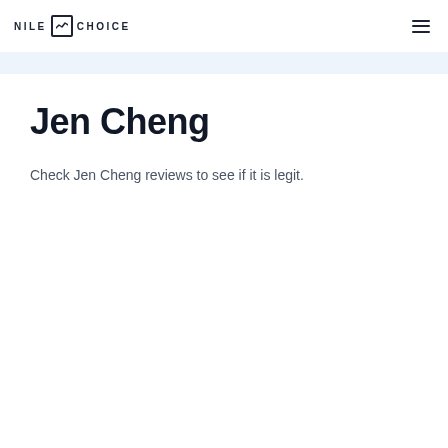NILE CHOICE
Jen Cheng
Check Jen Cheng reviews to see if it is legit.